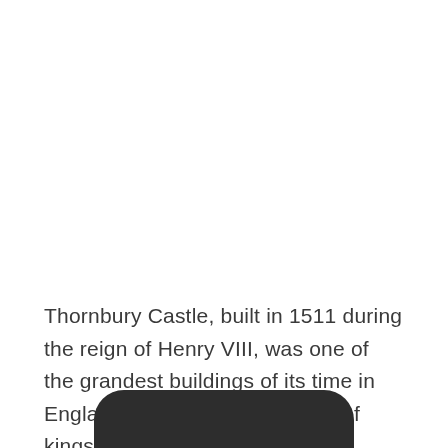Thornbury Castle, built in 1511 during the reign of Henry VIII, was one of the grandest buildings of its time in England. It has been the home of kings, queens...